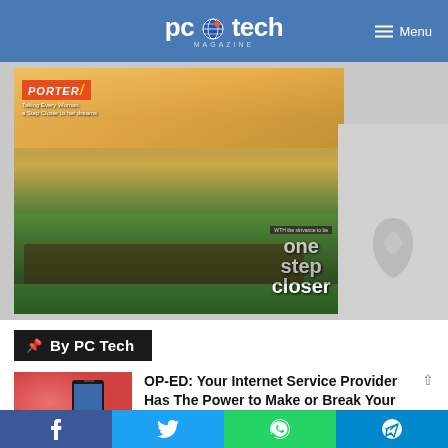PC Tech Magazine
[Figure (photo): Porter magazine cover featuring four women sitting at an outdoor table, smiling and socializing. Text reads 'PORTER Taking Every Woman a Step Closer to her dreams' and 'one step closer'.]
By PC Tech
[Figure (photo): Thumbnail photo showing a hand holding a smartphone against a red/coral background]
OP-ED: Your Internet Service Provider Has The Power to Make or Break Your Business